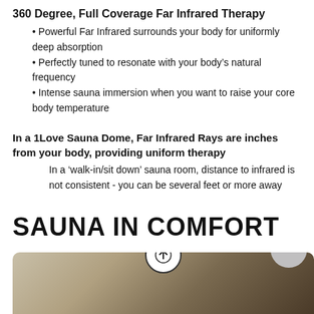360 Degree, Full Coverage Far Infrared Therapy
Powerful Far Infrared surrounds your body for uniformly deep absorption
Perfectly tuned to resonate with your body's natural frequency
Intense sauna immersion when you want to raise your core body temperature
In a 1Love Sauna Dome, Far Infrared Rays are inches from your body, providing uniform therapy
In a 'walk-in/sit down' sauna room, distance to infrared is not consistent - you can be several feet or more away
SAUNA IN COMFORT
[Figure (photo): Photo of a sauna dome interior/exterior at the bottom of the page, partially visible with a circular up-arrow button overlay and a dots button on the right]